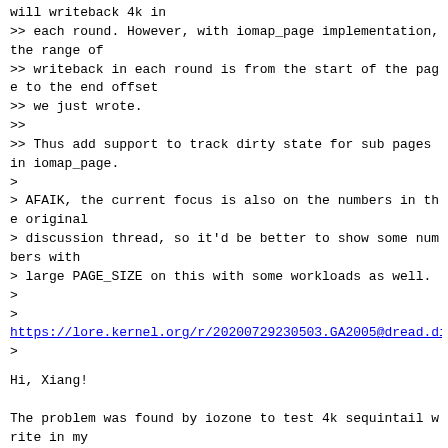will writeback 4k in
>> each round. However, with iomap_page implementation, the range of
>> writeback in each round is from the start of the page to the end offset
>> we just wrote.
>>
>> Thus add support to track dirty state for sub pages in iomap_page.
>
> AFAIK, the current focus is also on the numbers in the original
> discussion thread, so it'd be better to show some numbers with
> large PAGE_SIZE on this with some workloads as well.
>
>
https://lore.kernel.org/r/20200729230503.GA2005@dread.dis
>
Hi, Xiang!

The problem was found by iozone to test 4k sequintail write in my
case, thanks for pointing out the discussion thread. I'll test it if
this patch have any effect on that situation.

Thanks,
Yu Kuai